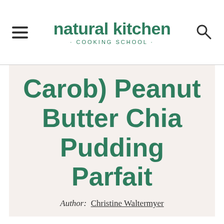natural kitchen · COOKING SCHOOL ·
Carob) Peanut Butter Chia Pudding Parfait
Author: Christine Waltermyer
PRINT RECIPE